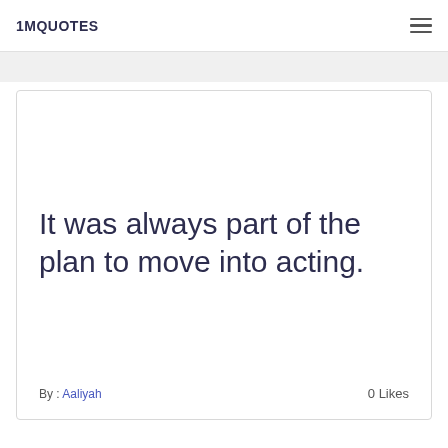1MQUOTES
It was always part of the plan to move into acting.
By : Aaliyah   0 Likes